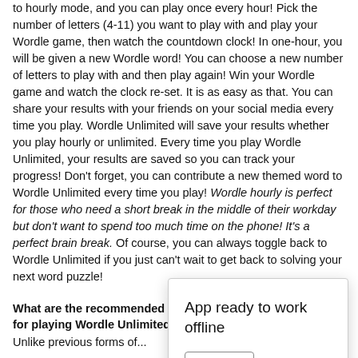to hourly mode, and you can play once every hour! Pick the number of letters (4-11) you want to play with and play your Wordle game, then watch the countdown clock! In one-hour, you will be given a new Wordle word! You can choose a new number of letters to play with and then play again! Win your Wordle game and watch the clock re-set. It is as easy as that. You can share your results with your friends on your social media every time you play. Wordle Unlimited will save your results whether you play hourly or unlimited. Every time you play Wordle Unlimited, your results are saved so you can track your progress! Don't forget, you can contribute a new themed word to Wordle Unlimited every time you play! Wordle hourly is perfect for those who need a short break in the middle of their workday but don't want to spend too much time on the phone! It's a perfect brain break. Of course, you can always toggle back to Wordle Unlimited if you just can't wait to get back to solving your next word puzzle!
What are the recommended settings for playing Wordle Unlimited?
Unlike previous forms of...
[Figure (screenshot): App ready to work offline dialog box with a Close button]